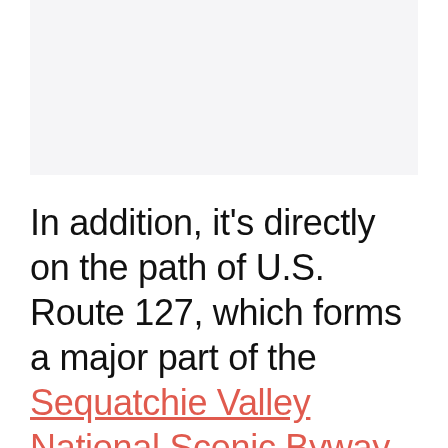[Figure (photo): Image placeholder area at top of page]
In addition, it's directly on the path of U.S. Route 127, which forms a major part of the Sequatchie Valley National Scenic Byway.